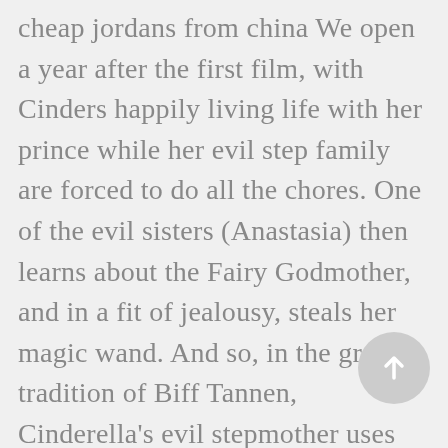cheap jordans from china We open a year after the first film, with Cinders happily living life with her prince while her evil step family are forced to do all the chores. One of the evil sisters (Anastasia) then learns about the Fairy Godmother, and in a fit of jealousy, steals her magic wand. And so, in the great tradition of Biff Tannen, Cinderella's evil stepmother uses the same magic that screwed her to go back in time and sabotage the climax of the original film. After preventing Cinderella from cheap jordans shoes trying on the glass slipper, she magically changes the size of Anastasia's foot, using the Prince's extraordinary face blindness / foot fetish against him. This is enough to throw everyone into an alternate timeline wherein Cinderella doesn't live happily ever